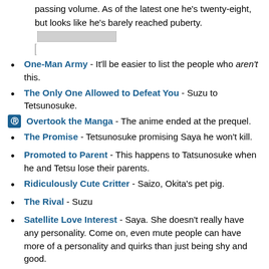passing volume. As of the latest one he's twenty-eight, but looks like he's barely reached puberty.
One-Man Army - It'll be easier to list the people who aren't this.
The Only One Allowed to Defeat You - Suzu to Tetsunosuke.
Overtook the Manga - The anime ended at the prequel.
The Promise - Tetsunosuke promising Saya he won't kill.
Promoted to Parent - This happens to Tatsunosuke when he and Tetsu lose their parents.
Ridiculously Cute Critter - Saizo, Okita's pet pig.
The Rival - Suzu
Satellite Love Interest - Saya. She doesn't really have any personality. Come on, even mute people can have more of a personality and quirks than just being shy and good.
Shy Blue-Haired Girl - Saya